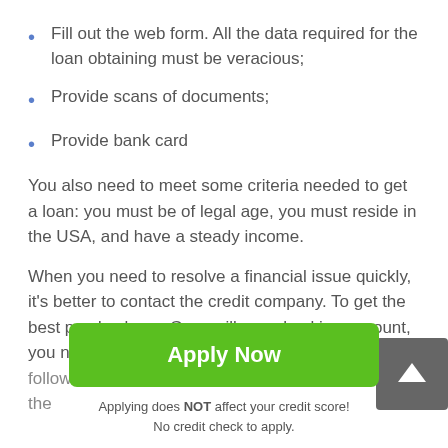Fill out the web form. All the data required for the loan obtaining must be veracious;
Provide scans of documents;
Provide bank card
You also need to meet some criteria needed to get a loan: you must be of legal age, you must reside in the USA, and have a steady income.
When you need to resolve a financial issue quickly, it's better to contact the credit company. To get the best payday loans Greenville no checking account, you nee follow the simple steps and rules. This will minimize the
[Figure (other): Scroll-to-top button with upward arrow icon on dark grey background]
Apply Now
Applying does NOT affect your credit score!
No credit check to apply.